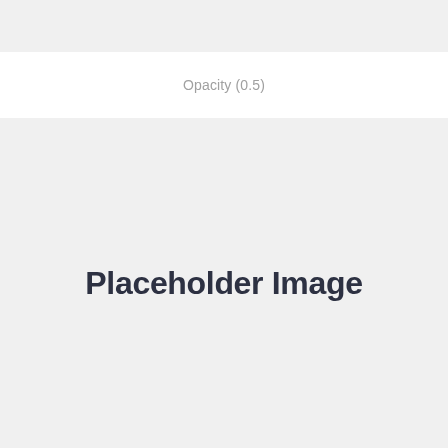[Figure (other): Top gray bar placeholder image area]
Opacity (0.5)
[Figure (other): Large placeholder image box with text 'Placeholder Image']